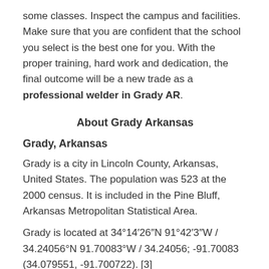some classes. Inspect the campus and facilities. Make sure that you are confident that the school you select is the best one for you. With the proper training, hard work and dedication, the final outcome will be a new trade as a professional welder in Grady AR.
About Grady Arkansas
Grady, Arkansas
Grady is a city in Lincoln County, Arkansas, United States. The population was 523 at the 2000 census. It is included in the Pine Bluff, Arkansas Metropolitan Statistical Area.
Grady is located at 34°14′26″N 91°42′3″W / 34.24056°N 91.70083°W / 34.24056; -91.70083 (34.079551, -91.700722). [3]